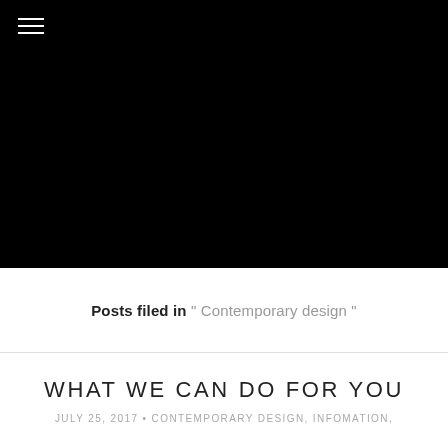[Figure (photo): Large black hero image filling the top portion of the page with a hamburger menu icon in the top-left corner]
Posts filed in " Contemporary design "
WHAT WE CAN DO FOR YOU
JULY 25, 2017 • CONTEMPORARY DESIGN, INFOMATION,